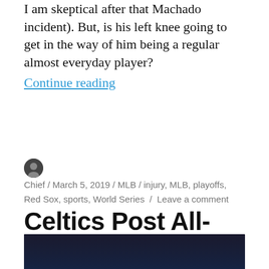I am skeptical after that Machado incident). But, is his left knee going to get in the way of him being a regular almost everyday player?
Continue reading
Chief / March 5, 2019 / MLB / injury, MLB, playoffs, Red Sox, sports, World Series / Leave a comment
Celtics Post All-Star Break History
[Figure (photo): Photo of Boston Celtics players in white CELTICS jerseys on a basketball court with dark arena background]